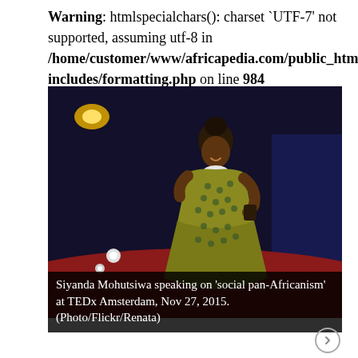Warning: htmlspecialchars(): charset `UTF-7' not supported, assuming utf-8 in /home/customer/www/africapedia.com/public_html/wp-includes/formatting.php on line 984
[Figure (photo): A woman (Siyanda Mohutsiwa) standing on a TED stage wearing a patterned yellow/green dress, smiling and holding a device, with dark blue/red stage lighting in the background.]
Siyanda Mohutsiwa speaking on 'social pan-Africanism' at TEDx Amsterdam, Nov 27, 2015. (Photo/Flickr/Renata)